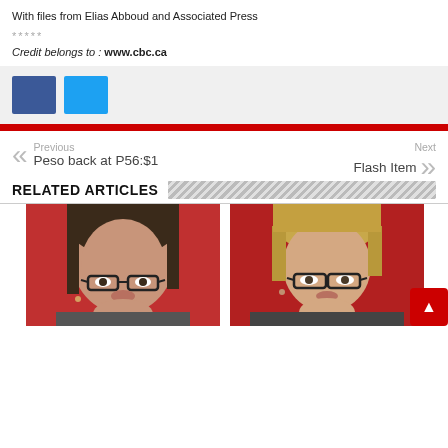With files from Elias Abboud and Associated Press
*****
Credit belongs to : www.cbc.ca
[Figure (other): Social share buttons: Facebook (blue) and Twitter (cyan)]
Previous
Peso back at P56:$1
Next
Flash Item
RELATED ARTICLES
[Figure (photo): Two side-by-side photos of women wearing glasses, against a red background]
[Figure (other): Scroll-to-top red button with upward arrow]